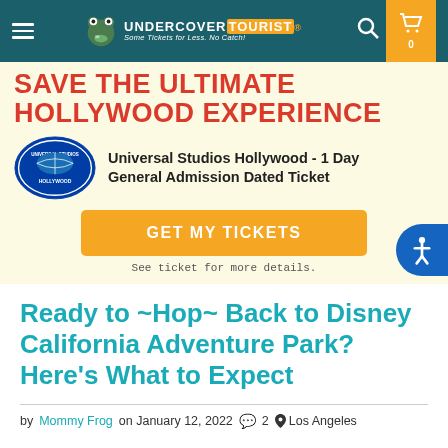Undercover Tourist – Some Tickets for Less. No Catch!
[Figure (infographic): Universal Studios Hollywood promotional banner with red bold headline 'SAVE THE ULTIMATE HOLLYWOOD EXPERIENCE', Universal Studios Hollywood logo, product name '1 Day General Admission Dated Ticket', orange GET MY TICKETS button, and detail note 'See ticket for more details.']
Ready to ~Hop~ Back to Disney California Adventure Park? Here's What to Expect
by Mommy Frog on January 12, 2022  💬 2  📍 Los Angeles